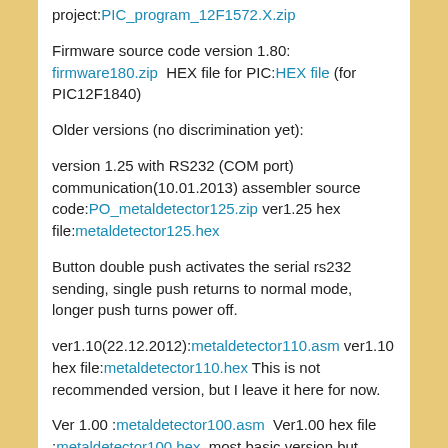project:PIC_program_12F1572.X.zip
Firmware source code version 1.80: firmware180.zip  HEX file for PIC:HEX file (for PIC12F1840)
Older versions (no discrimination yet):
version 1.25 with RS232 (COM port) communication(10.01.2013) assembler source code:PO_metaldetector125.zip ver1.25 hex file:metaldetector125.hex
Button double push activates the serial rs232 sending, single push returns to normal mode, longer push turns power off.
ver1.10(22.12.2012):metaldetector110.asm ver1.10 hex file:metaldetector110.hex This is not recommended version, but I leave it here for now.
Ver 1.00 :metaldetector100.asm  Ver1.00 hex file :metaldetector100.hex  most basic version but works. No discrimination.
Printed circuit board (PCB):
Currently there is three versions of PCB-s designed. V1.00 First version was one sided board.
V2.00 version was two sided board (actually by design may